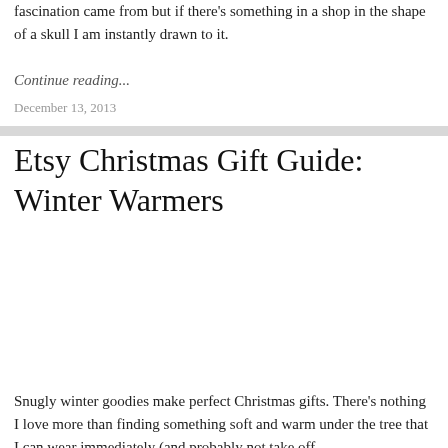fascination came from but if there's something in a shop in the shape of a skull I am instantly drawn to it.
Continue reading...
December 13, 2013
Etsy Christmas Gift Guide: Winter Warmers
[Figure (photo): Image placeholder area for the Winter Warmers gift guide article]
Snugly winter goodies make perfect Christmas gifts. There's nothing I love more than finding something soft and warm under the tree that I can wear immediately (and probably not take off